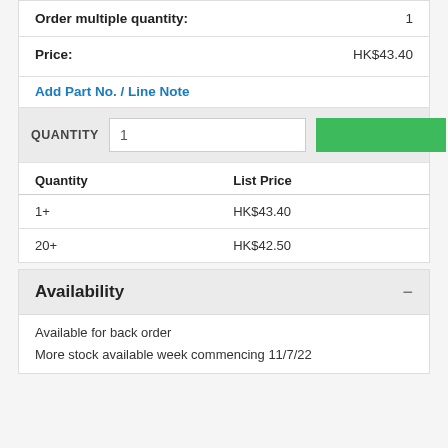| Order multiple quantity: | 1 |
| --- | --- |
| Price: | HK$43.40 |
Add Part No. / Line Note
| QUANTITY | 1 |  |
| --- | --- | --- |
| Quantity | List Price |
| --- | --- |
| 1+ | HK$43.40 |
| 20+ | HK$42.50 |
Availability
Available for back order
More stock available week commencing 11/7/22